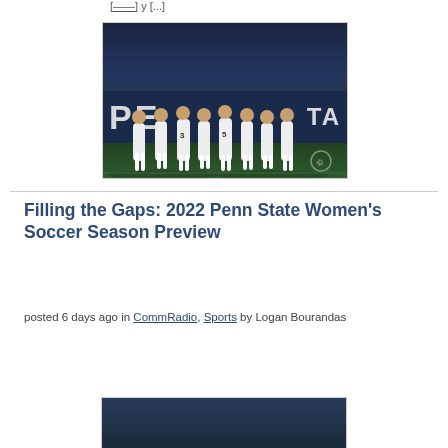[...] y [...]
[Figure (photo): Penn State women's soccer team huddle on the field in front of a Penn State banner, players wearing white uniforms with numbers 3 and 5 visible]
Filling the Gaps: 2022 Penn State Women's Soccer Season Preview
posted 6 days ago in CommRadio, Sports by Logan Bourandas
[Figure (photo): Bottom partial photo, dark tones]